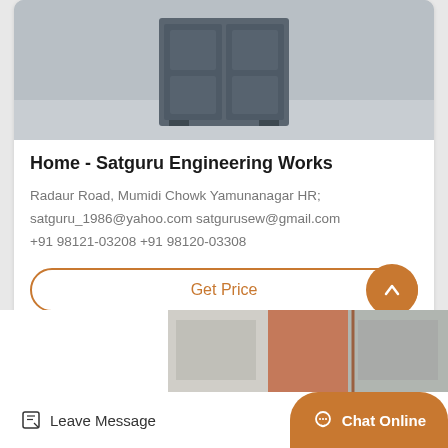[Figure (photo): Photo of a grey metal cabinet/locker product on a concrete floor]
Home - Satguru Engineering Works
Radaur Road, Mumidi Chowk Yamunanagar HR; satguru_1986@yahoo.com satgurusew@gmail.com +91 98121-03208 +91 98120-03308
Get Price
[Figure (photo): Partial photo of a building exterior with orange/red paneling]
Leave Message
Chat Online